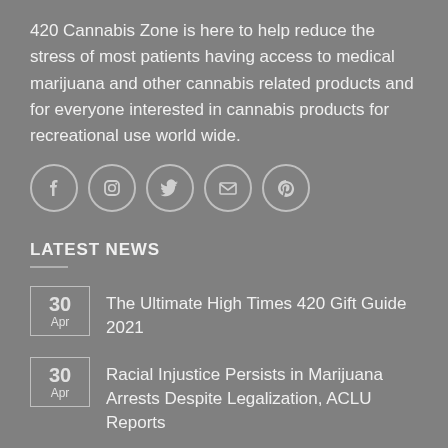420 Cannabis Zone is here to help reduce the stress of most patients having access to medical marijuana and other cannabis related products and for everyone interested in cannabis products for recreational use world wide.
[Figure (other): Row of five social media icon circles: Facebook, Instagram, Twitter, Email, Pinterest]
LATEST NEWS
30 Apr — The Ultimate High Times 420 Gift Guide 2021
30 Apr — Racial Injustice Persists in Marijuana Arrests Despite Legalization, ACLU Reports
QUICK LINKS
FAQ